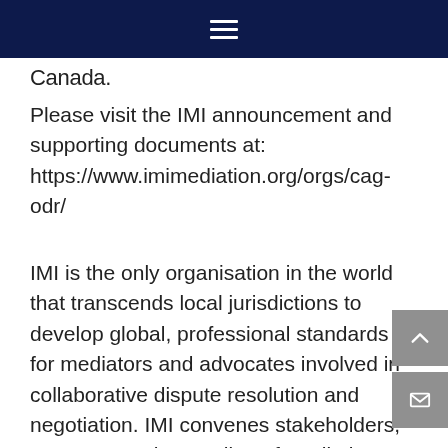☰ (navigation menu)
Canada.
Please visit the IMI announcement and supporting documents at: https://www.imimediation.org/orgs/cag-odr/
IMI is the only organisation in the world that transcends local jurisdictions to develop global, professional standards for mediators and advocates involved in collaborative dispute resolution and negotiation. IMI convenes stakeholders, promotes understanding of mediation, and